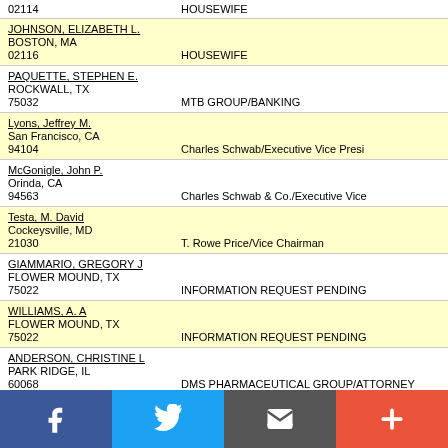02114   HOUSEWIFE
JOHNSON, ELIZABETH L.
BOSTON, MA
02116   HOUSEWIFE
PAQUETTE, STEPHEN E.
ROCKWALL, TX
75032   MTB GROUP/BANKING
Lyons, Jeffrey M.
San Francisco, CA
94104   Charles Schwab/Executive Vice Presi
McGonigle, John P.
Orinda, CA
94563   Charles Schwab & Co./Executive Vice
Testa, M. David
Cockeysville, MD
21030   T. Rowe Price/Vice Chairman
GIAMMARIO, GREGORY J
FLOWER MOUND, TX
75022   INFORMATION REQUEST PENDING
WILLIAMS, A. A
FLOWER MOUND, TX
75022   INFORMATION REQUEST PENDING
ANDERSON, CHRISTINE L
PARK RIDGE, IL
60068   DMS PHARMACEUTICAL GROUP/ATTORNEY